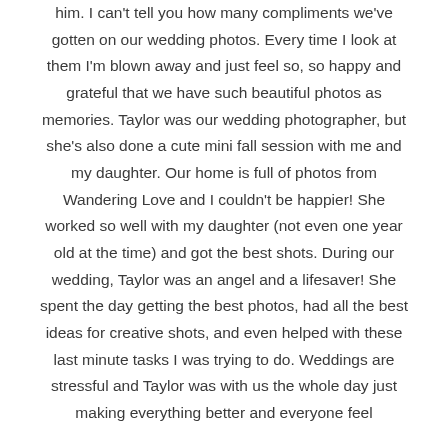him. I can't tell you how many compliments we've gotten on our wedding photos. Every time I look at them I'm blown away and just feel so, so happy and grateful that we have such beautiful photos as memories. Taylor was our wedding photographer, but she's also done a cute mini fall session with me and my daughter. Our home is full of photos from Wandering Love and I couldn't be happier! She worked so well with my daughter (not even one year old at the time) and got the best shots. During our wedding, Taylor was an angel and a lifesaver! She spent the day getting the best photos, had all the best ideas for creative shots, and even helped with these last minute tasks I was trying to do. Weddings are stressful and Taylor was with us the whole day just making everything better and everyone feel